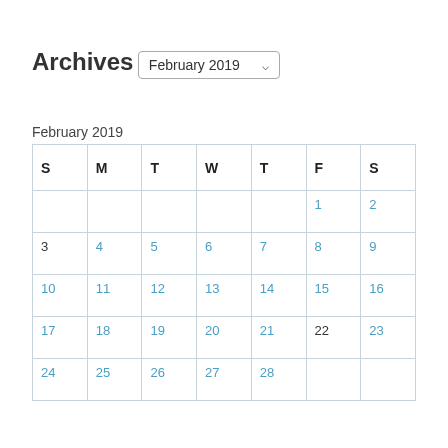Archives
February 2019 ▾
February 2019
| S | M | T | W | T | F | S |
| --- | --- | --- | --- | --- | --- | --- |
|  |  |  |  |  | 1 | 2 |
| 3 | 4 | 5 | 6 | 7 | 8 | 9 |
| 10 | 11 | 12 | 13 | 14 | 15 | 16 |
| 17 | 18 | 19 | 20 | 21 | 22 | 23 |
| 24 | 25 | 26 | 27 | 28 |  |  |